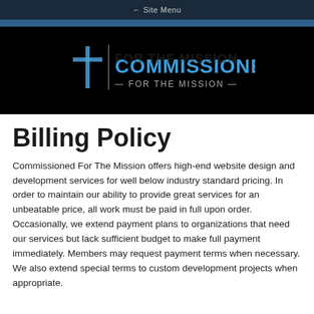← Site Menu
[Figure (logo): Commissioned For The Mission logo — cross icon with blue text 'COMMISSIONED' and '— FOR THE MISSION —' on black background]
Billing Policy
Commissioned For The Mission offers high-end website design and development services for well below industry standard pricing. In order to maintain our ability to provide great services for an unbeatable price, all work must be paid in full upon order. Occasionally, we extend payment plans to organizations that need our services but lack sufficient budget to make full payment immediately. Members may request payment terms when necessary. We also extend special terms to custom development projects when appropriate.